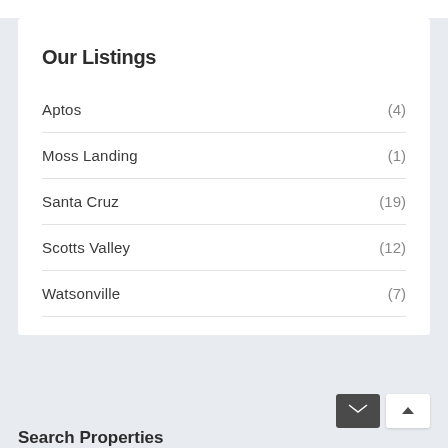Our Listings
Aptos (4)
Moss Landing (1)
Santa Cruz (19)
Scotts Valley (12)
Watsonville (7)
Search Properties